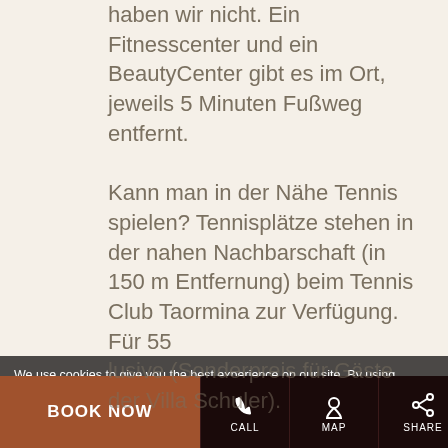haben wir nicht. Ein Fitnesscenter und ein BeautyCenter gibt es im Ort, jeweils 5 Minuten Fußweg entfernt.

Kann man in der Nähe Tennis spielen? Tennisplätze stehen in der nahen Nachbarschaft (in 150 m Entfernung) beim Tennis Club Taormina zur Verfügung. Für 55 Minuten: 10,60
We use cookies to give you the best experience on our site. By using the website you agree to the use of cookies including third party. Cookies info
lusive (Sonderpreis für Gäste der Villa Schuler).